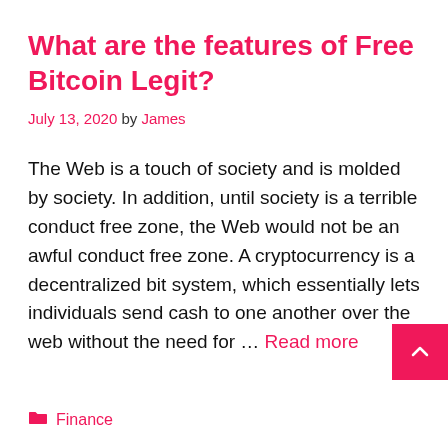What are the features of Free Bitcoin Legit?
July 13, 2020 by James
The Web is a touch of society and is molded by society. In addition, until society is a terrible conduct free zone, the Web would not be an awful conduct free zone. A cryptocurrency is a decentralized bit system, which essentially lets individuals send cash to one another over the web without the need for … Read more
Finance